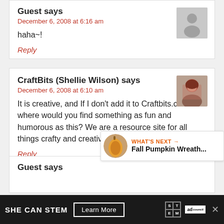Guest says
December 6, 2008 at 6:16 am
haha~!
Reply
CraftBits (Shellie Wilson) says
December 6, 2008 at 6:10 am
It is creative, and If I don't add it to Craftbits.com then where would you find something as fun and humorous as this? We are a resource site for all things crafty and creative
Reply
Guest says
WHAT'S NEXT → Fall Pumpkin Wreath...
SHE CAN STEM   Learn More